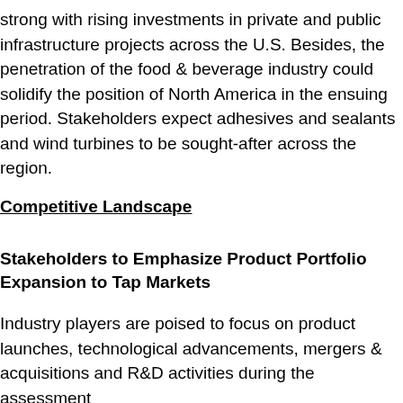strong with rising investments in private and public infrastructure projects across the U.S. Besides, the penetration of the food & beverage industry could solidify the position of North America in the ensuing period. Stakeholders expect adhesives and sealants and wind turbines to be sought-after across the region.
Competitive Landscape
Stakeholders to Emphasize Product Portfolio Expansion to Tap Markets
Industry players are poised to focus on product launches, technological advancements, mergers & acquisitions and R&D activities during the assessment